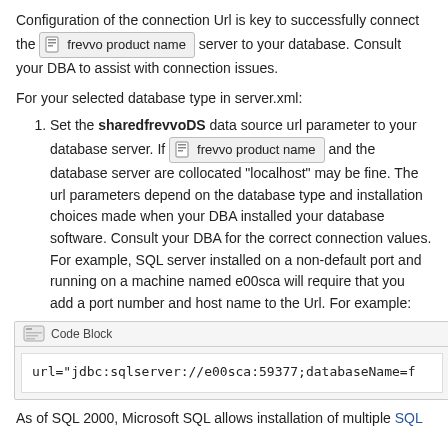Configuration of the connection Url is key to successfully connect the [frevvo product name] server to your database. Consult your DBA to assist with connection issues.
For your selected database type in server.xml:
Set the sharedfrevvoDS data source url parameter to your database server. If [frevvo product name] and the database server are collocated "localhost" may be fine. The url parameters depend on the database type and installation choices made when your DBA installed your database software. Consult your DBA for the correct connection values. For example, SQL server installed on a non-default port and running on a machine named e00sca will require that you add a port number and host name to the Url. For example:
Code Block
url="jdbc:sqlserver://e00sca:59377;databaseName=f
As of SQL 2000, Microsoft SQL allows installation of multiple SQL